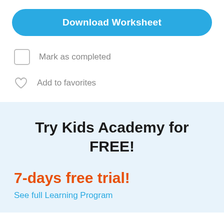Download Worksheet
Mark as completed
Add to favorites
Try Kids Academy for FREE!
7-days free trial!
See full Learning Program